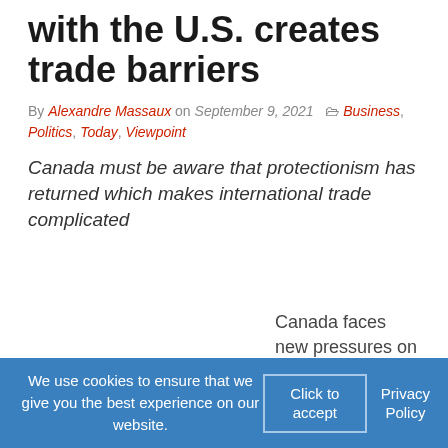with the U.S. creates trade barriers
By Alexandre Massaux on September 9, 2021  Business, Politics, Today, Viewpoint
Canada must be aware that protectionism has returned which makes international trade complicated
Canada faces new pressures on any attempts to ramp up
We use cookies to ensure that we give you the best experience on our website.
Click to accept
Privacy Policy